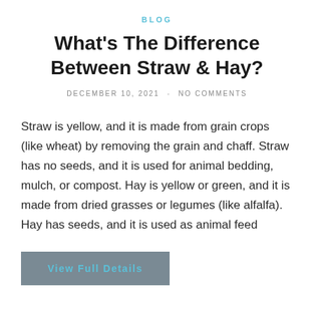BLOG
What's The Difference Between Straw & Hay?
DECEMBER 10, 2021  -  NO COMMENTS
Straw is yellow, and it is made from grain crops (like wheat) by removing the grain and chaff. Straw has no seeds, and it is used for animal bedding, mulch, or compost. Hay is yellow or green, and it is made from dried grasses or legumes (like alfalfa). Hay has seeds, and it is used as animal feed
View Full Details